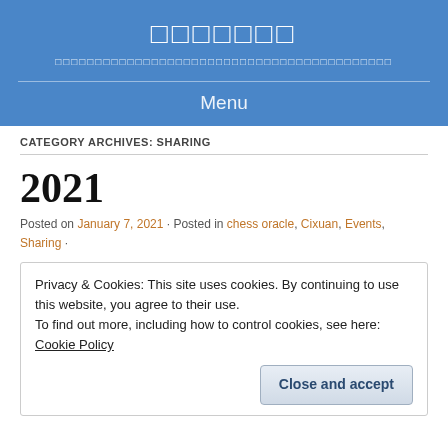□□□□□□□
□□□□□□□□□□□□□□□□□□□□□□□□□□□□□□□□□□□□□□□□□□
Menu
CATEGORY ARCHIVES: SHARING
2021
Posted on January 7, 2021 · Posted in chess oracle, Cixuan, Events, Sharing ·
Privacy & Cookies: This site uses cookies. By continuing to use this website, you agree to their use.
To find out more, including how to control cookies, see here: Cookie Policy
Close and accept